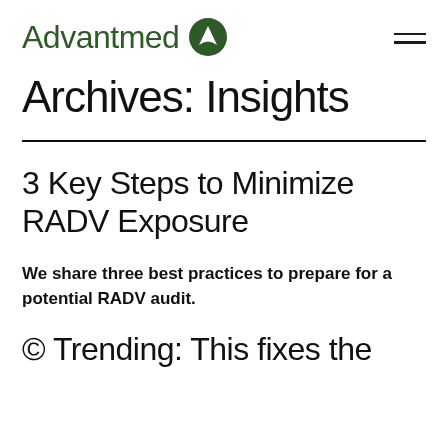Advantmed
Archives: Insights
3 Key Steps to Minimize RADV Exposure
We share three best practices to prepare for a potential RADV audit.
© Trending: This fixes the...